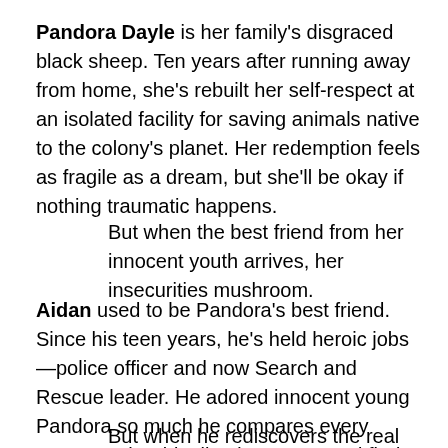Pandora Dayle is her family's disgraced black sheep. Ten years after running away from home, she's rebuilt her self-respect at an isolated facility for saving animals native to the colony's planet. Her redemption feels as fragile as a dream, but she'll be okay if nothing traumatic happens.
But when the best friend from her innocent youth arrives, her insecurities mushroom.
Aidan used to be Pandora's best friend. Since his teen years, he's held heroic jobs—police officer and now Search and Rescue leader. He adored innocent young Pandora so much he compares every woman to her idealized memory, and finds them wanting.
But when he rediscovers the real thing, she's not at all what he expected.